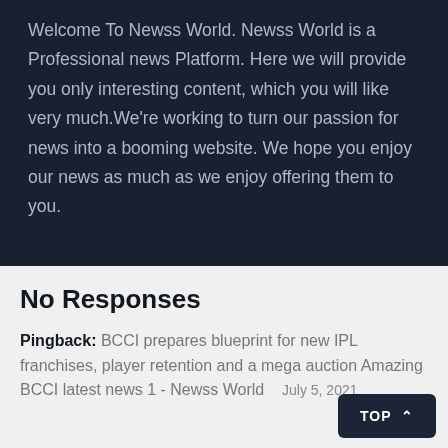Welcome To Newss World. Newss World is a Professional news Platform. Here we will provide you only interesting content, which you will like very much.We're working to turn our passion for news into a booming website. We hope you enjoy our news as much as we enjoy offering them to you.
No Responses
Pingback: BCCI prepares blueprint for new IPL franchises, player retention and a mega auction Amazing BCCI latest news 1 - Newss World  July 5, 2021